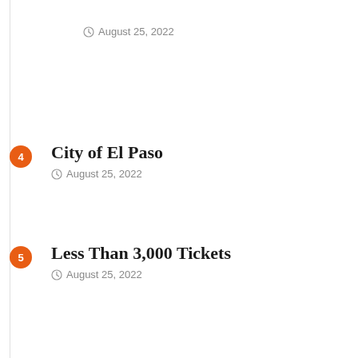August 25, 2022
4 — City of El Paso — August 25, 2022
5 — Less Than 3,000 Tickets — August 25, 2022